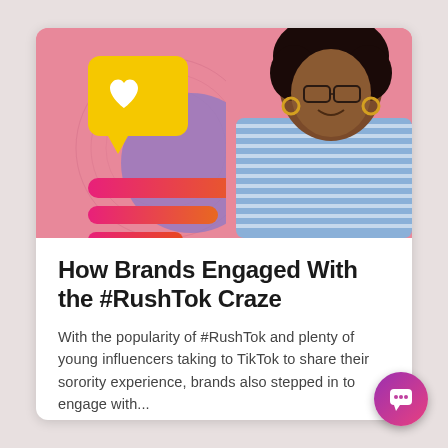[Figure (illustration): Pink background with a young Black woman wearing glasses and a striped blue top, carrying a bag. Overlaid decorative elements: a yellow speech bubble with a white heart icon, a blue/purple circle, and three horizontal gradient bars (pink to red/orange).]
How Brands Engaged With the #RushTok Craze
With the popularity of #RushTok and plenty of young influencers taking to TikTok to share their sorority experience, brands also stepped in to engage with...